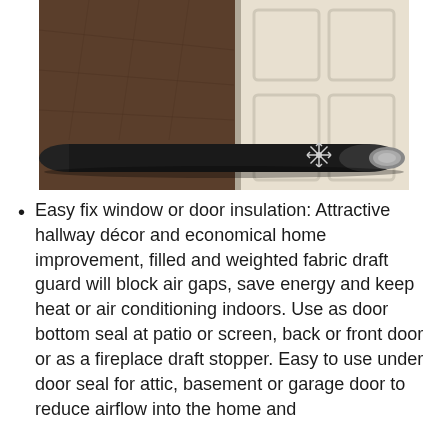[Figure (photo): A black fabric draft stopper / door snake placed at the bottom of a white paneled door on a dark wood floor. The draft stopper has a snowflake design on it and silver metal ends.]
Easy fix window or door insulation: Attractive hallway décor and economical home improvement, filled and weighted fabric draft guard will block air gaps, save energy and keep heat or air conditioning indoors. Use as door bottom seal at patio or screen, back or front door or as a fireplace draft stopper. Easy to use under door seal for attic, basement or garage door to reduce airflow into the home and